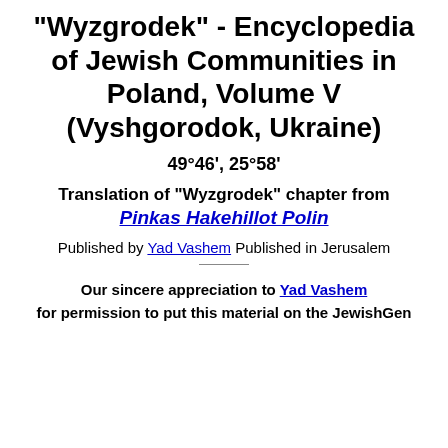“Wyzgrodek” - Encyclopedia of Jewish Communities in Poland, Volume V (Vyshgorodok, Ukraine)
49°46’, 25°58’
Translation of “Wyzgrodek” chapter from Pinkas Hakehillot Polin
Published by Yad Vashem Published in Jerusalem
Our sincere appreciation to Yad Vashem for permission to put this material on the JewishGen